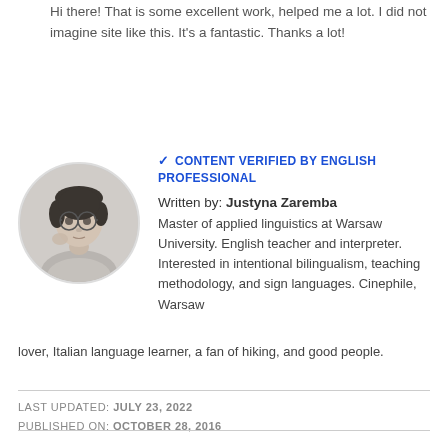Hi there! That is some excellent work, helped me a lot. I did not imagine site like this. It's a fantastic. Thanks a lot!
[Figure (photo): Black and white circular portrait photo of Justyna Zaremba, a woman with glasses and short hair, resting her hand near her face]
✓ CONTENT VERIFIED BY ENGLISH PROFESSIONAL
Written by: Justyna Zaremba
Master of applied linguistics at Warsaw University. English teacher and interpreter. Interested in intentional bilingualism, teaching methodology, and sign languages. Cinephile, Warsaw lover, Italian language learner, a fan of hiking, and good people.
LAST UPDATED: JULY 23, 2022
PUBLISHED ON: OCTOBER 28, 2016